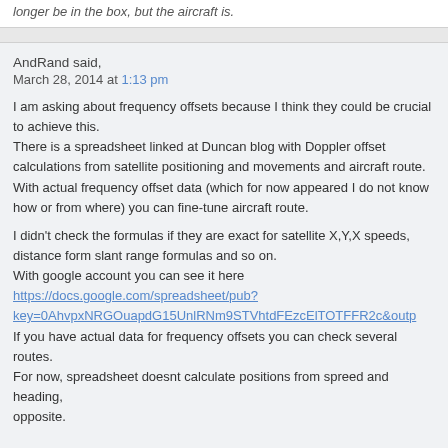longer be in the box, but the aircraft is.
AndRand said,
March 28, 2014 at 1:13 pm
I am asking about frequency offsets because I think they could be crucial to achieve this.
There is a spreadsheet linked at Duncan blog with Doppler offset calculations from satellite positioning and movements and aircraft route. With actual frequency offset data (which for now appeared I do not know how or from where) you can fine-tune aircraft route.

I didn't check the formulas if they are exact for satellite X,Y,X speeds, distance form slant range formulas and so on.
With google account you can see it here
https://docs.google.com/spreadsheet/pub?key=0AhvpxNRGOuapdG15UnlRNm9STVhtdFEzcElTOTFFR2c&outp
If you have actual data for frequency offsets you can check several routes.
For now, spreadsheet doesnt calculate positions from spreed and heading, opposite.
AndRand said,
March 28, 2014 at 1:13